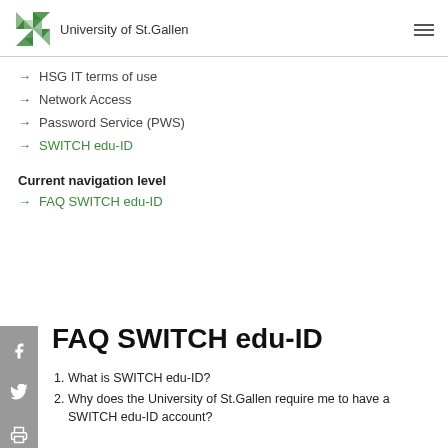University of St.Gallen
→ HSG IT terms of use
→ Network Access
→ Password Service (PWS)
→ SWITCH edu-ID
Current navigation level
→ FAQ SWITCH edu-ID
FAQ SWITCH edu-ID
1. What is SWITCH edu-ID?
2. Why does the University of St.Gallen require me to have a SWITCH edu-ID account?